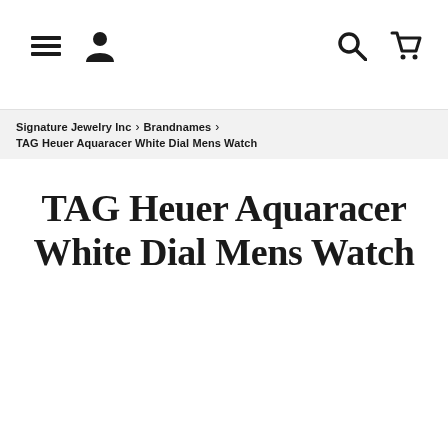≡ [person icon] [search icon] [cart icon]
Signature Jewelry Inc › Brandnames › TAG Heuer Aquaracer White Dial Mens Watch
TAG Heuer Aquaracer White Dial Mens Watch